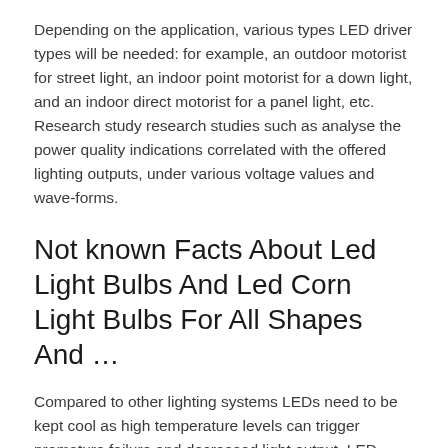Depending on the application, various types LED driver types will be needed: for example, an outdoor motorist for street light, an indoor point motorist for a down light, and an indoor direct motorist for a panel light, etc. Research study research studies such as analyse the power quality indications correlated with the offered lighting outputs, under various voltage values and wave-forms.
Not known Facts About Led Light Bulbs And Led Corn Light Bulbs For All Shapes And …
Compared to other lighting systems LEDs need to be kept cool as high temperature levels can trigger premature failure and decreased light output. LED